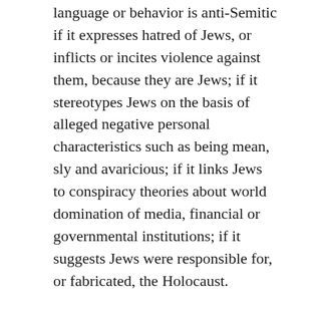language or behavior is anti-Semitic if it expresses hatred of Jews, or inflicts or incites violence against them, because they are Jews; if it stereotypes Jews on the basis of alleged negative personal characteristics such as being mean, sly and avaricious; if it links Jews to conspiracy theories about world domination of media, financial or governmental institutions; if it suggests Jews were responsible for, or fabricated, the Holocaust.
Most people would also agree that it is antisemitic to implicate all Jews in the actions of the Israeli state or to accuse all Jews of embracing a single ideology – Zionism, for example.